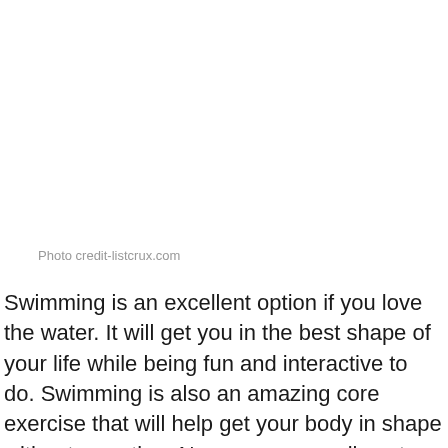Photo credit-listcrux.com
Swimming is an excellent option if you love the water. It will get you in the best shape of your life while being fun and interactive to do. Swimming is also an amazing core exercise that will help get your body in shape without sweating. Now you can easily get into your swimming pool and swim for an hour to get the best